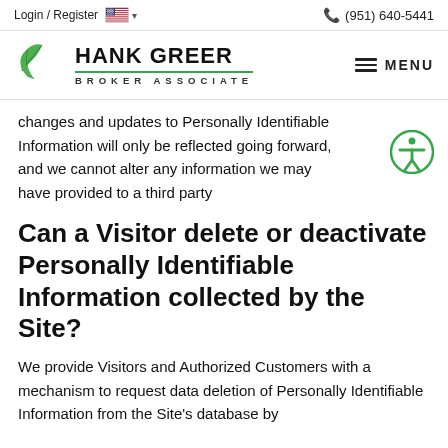Login / Register  🇺🇸 ∨    (951) 640-5441
[Figure (logo): Hank Greer Broker Associate logo with green leaf icon and green underline beneath the name]
changes and updates to Personally Identifiable Information will only be reflected going forward, and we cannot alter any information we may have provided to a third party
Can a Visitor delete or deactivate Personally Identifiable Information collected by the Site?
We provide Visitors and Authorized Customers with a mechanism to request data deletion of Personally Identifiable Information from the Site's database by